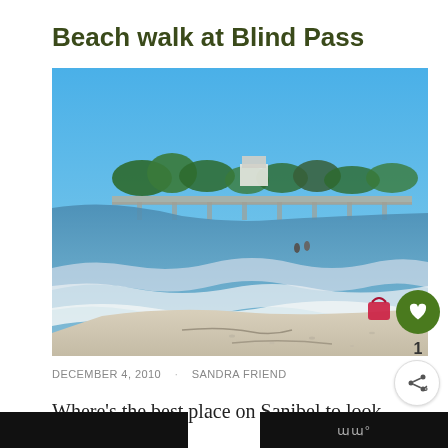Beach walk at Blind Pass
[Figure (photo): Beach scene at Blind Pass, Sanibel. Clear blue sky, calm ocean waves with white foam, sandy beach with seashells, a red bag on the right side, two people walking in the distance, a bridge and palm trees visible in the background.]
DECEMBER 4, 2010   SANDRA FRIEND
Where's the best place on Sanibel to look